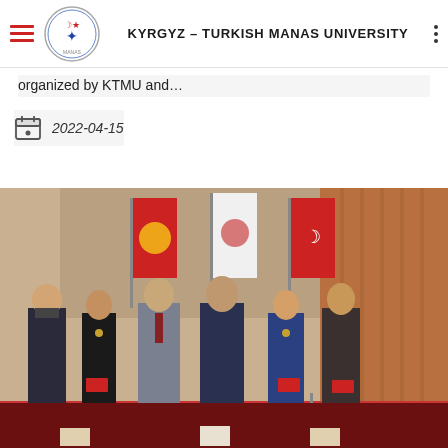KYRGYZ-TURKISH MANAS UNIVERSITY
organized by KTMU and...
2022-04-15
[Figure (photo): Six people standing in a formal meeting room in front of flags (Kyrgyz and Turkish national flags and a white institutional flag). Three women and three men in formal attire, some holding red certificates or booklets. Wood-paneled walls in background.]